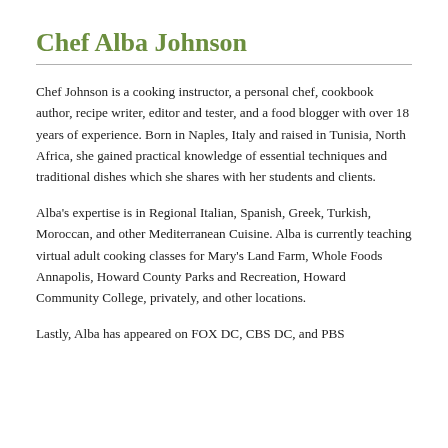Chef Alba Johnson
Chef Johnson is a cooking instructor, a personal chef, cookbook author, recipe writer, editor and tester, and a food blogger with over 18 years of experience. Born in Naples, Italy and raised in Tunisia, North Africa, she gained practical knowledge of essential techniques and traditional dishes which she shares with her students and clients.
Alba's expertise is in Regional Italian, Spanish, Greek, Turkish, Moroccan, and other Mediterranean Cuisine. Alba is currently teaching virtual adult cooking classes for Mary's Land Farm, Whole Foods Annapolis, Howard County Parks and Recreation, Howard Community College, privately, and other locations.
Lastly, Alba has appeared on FOX DC, CBS DC, and PBS